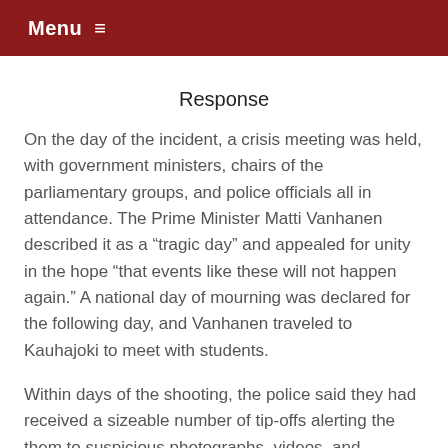Menu ≡
Response
On the day of the incident, a crisis meeting was held, with government ministers, chairs of the parliamentary groups, and police officials all in attendance. The Prime Minister Matti Vanhanen described it as a “tragic day” and appealed for unity in the hope “that events like these will not happen again.” A national day of mourning was declared for the following day, and Vanhanen traveled to Kauhajoki to meet with students.
Within days of the shooting, the police said they had received a sizeable number of tip-offs alerting the them to suspicious photographs, videos, and comments on chat rooms. Finnish media reported